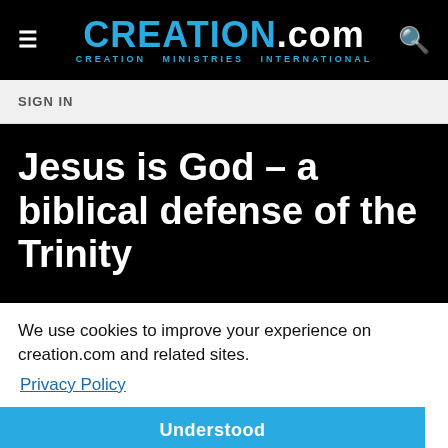CREATION.com — CREATION MINISTRIES INTERNATIONAL
SIGN IN
Jesus is God – a biblical defense of the Trinity
We use cookies to improve your experience on creation.com and related sites. Privacy Policy
Understood
Jesus is God – a biblica